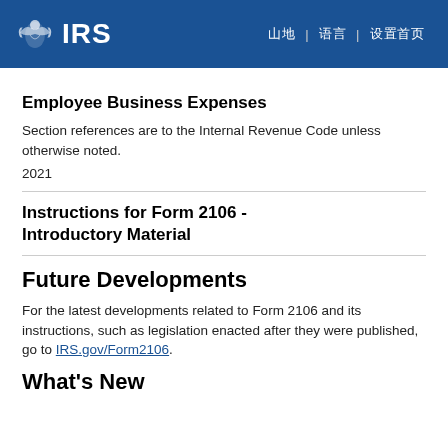IRS | Employee Business Expenses | 2021
Employee Business Expenses
Section references are to the Internal Revenue Code unless otherwise noted.
2021
Instructions for Form 2106 - Introductory Material
Future Developments
For the latest developments related to Form 2106 and its instructions, such as legislation enacted after they were published, go to IRS.gov/Form2106.
What's New